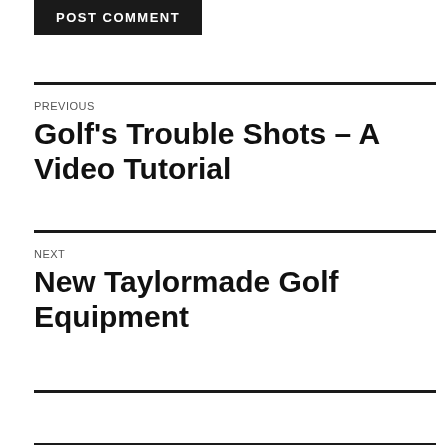[Figure (other): POST COMMENT button — black rectangle with white uppercase bold text]
PREVIOUS
Golf’s Trouble Shots – A Video Tutorial
NEXT
New Taylormade Golf Equipment